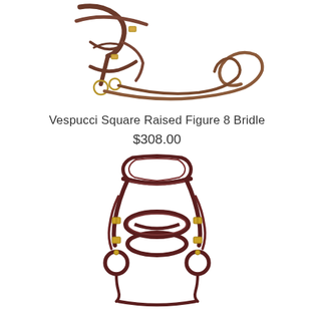[Figure (photo): Brown leather horse bridle with reins coiled beside it, shown from above on white background]
Vespucci Square Raised Figure 8 Bridle
$308.00
[Figure (photo): Dark brown/burgundy leather figure-8 bridle shown front-facing on white background, with gold hardware buckles]